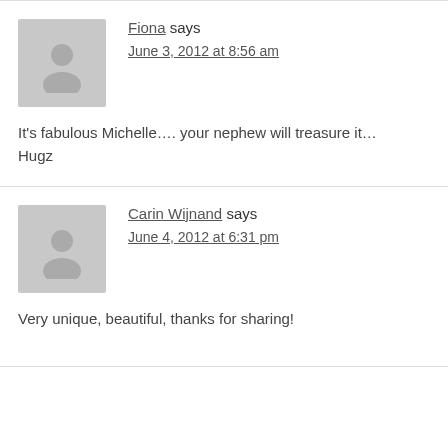Fiona says
June 3, 2012 at 8:56 am
It's fabulous Michelle…. your nephew will treasure it…
Hugz
Carin Wijnand says
June 4, 2012 at 6:31 pm
Very unique, beautiful, thanks for sharing!